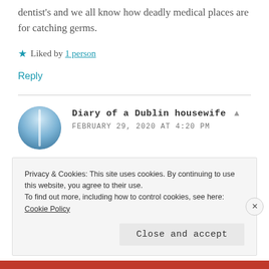dentist's and we all know how deadly medical places are for catching germs.
★ Liked by 1 person
Reply
Diary of a Dublin housewife ▲
FEBRUARY 29, 2020 AT 4:20 PM
Shes mad as a box of frogs. Thinks boiled 7up
Privacy & Cookies: This site uses cookies. By continuing to use this website, you agree to their use.
To find out more, including how to control cookies, see here: Cookie Policy
Close and accept